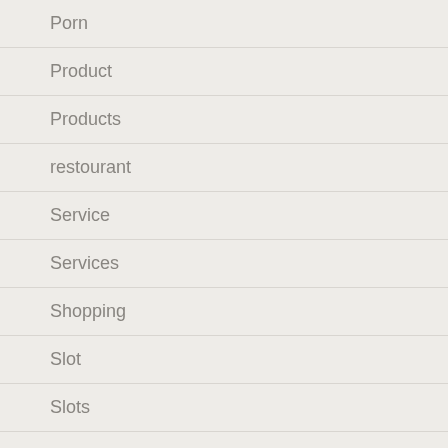Porn
Product
Products
restourant
Service
Services
Shopping
Slot
Slots
Sports
Technology